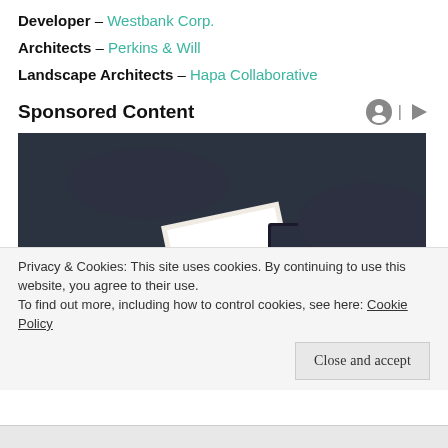Developer – Westbank Corp.
Architects – Perkins & Will
Landscape Architects – Hapa Collaborative
Sponsored Content
[Figure (photo): Person in dark clothing working at a desk with a laptop keyboard and calculator, holding papers]
Privacy & Cookies: This site uses cookies. By continuing to use this website, you agree to their use.
To find out more, including how to control cookies, see here: Cookie Policy
Close and accept